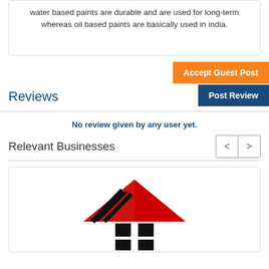water based paints are durable and are used for long-term whereas oil based paints are basically used in india.
Accept Guest Post
Post Review
Reviews
No review given by any user yet.
Relevant Businesses
[Figure (illustration): House icon with red roof and black stripes, with black windows below]